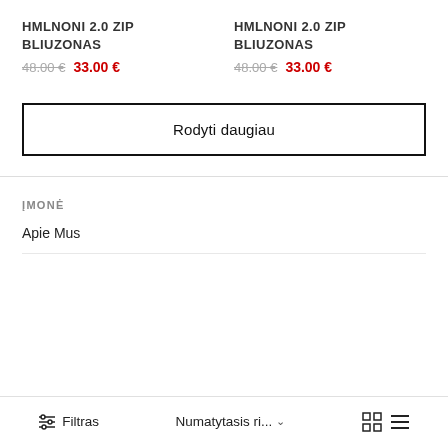HMLNONI 2.0 ZIP BLIUZONAS
48.00 € 33.00 €
HMLNONI 2.0 ZIP BLIUZONAS
48.00 € 33.00 €
Rodyti daugiau
ĮMONĖ
Apie Mus
Filtras   Numatytasis ri...   ∨   ▦  ≡